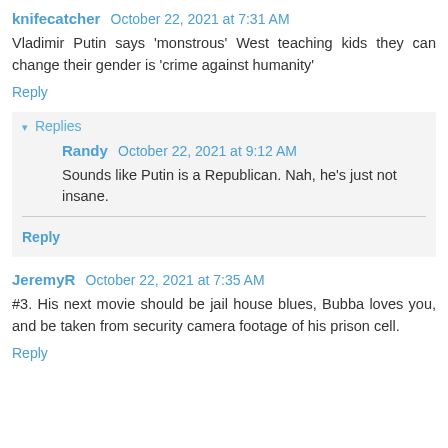knifecatcher  October 22, 2021 at 7:31 AM
Vladimir Putin says 'monstrous' West teaching kids they can change their gender is 'crime against humanity'
Reply
▾ Replies
Randy  October 22, 2021 at 9:12 AM
Sounds like Putin is a Republican. Nah, he's just not insane.
Reply
JeremyR  October 22, 2021 at 7:35 AM
#3. His next movie should be jail house blues, Bubba loves you, and be taken from security camera footage of his prison cell.
Reply